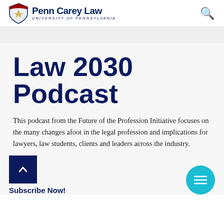Penn Carey Law — University of Pennsylvania
Law 2030 Podcast
This podcast from the Future of the Profession Initiative focuses on the many changes afoot in the legal profession and implications for lawyers, law students, clients and leaders across the industry.
Subscribe Now!